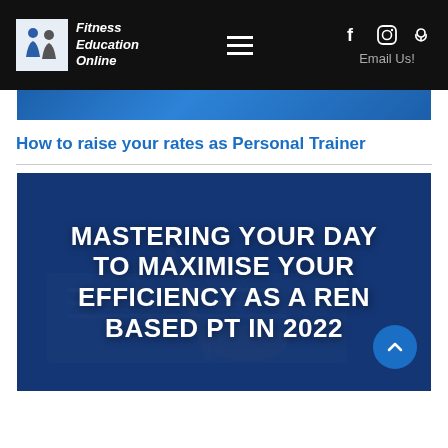Fitness Education Online — navigation header with logo, hamburger menu, social icons (Facebook, Instagram, Podcast), Email Us!
[Figure (photo): Partial blue banner image strip at top of content area]
How to raise your rates as Personal Trainer
[Figure (photo): Dark blue overlay image of a person writing with a pen on paper, with bold white text: MASTERING YOUR DAY TO MAXIMISE YOUR EFFICIENCY AS A RENT BASED PT IN 2022. A blue circular scroll-up arrow button is overlaid on the right side.]